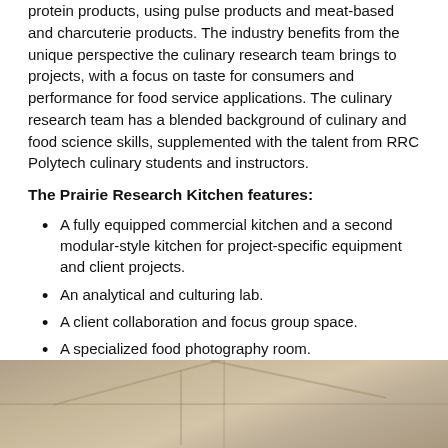protein products, using pulse products and meat-based and charcuterie products. The industry benefits from the unique perspective the culinary research team brings to projects, with a focus on taste for consumers and performance for food service applications. The culinary research team has a blended background of culinary and food science skills, supplemented with the talent from RRC Polytech culinary students and instructors.
The Prairie Research Kitchen features:
A fully equipped commercial kitchen and a second modular-style kitchen for project-specific equipment and client projects.
An analytical and culturing lab.
A client collaboration and focus group space.
A specialized food photography room.
[Figure (photo): A photo of a kitchen or lab interior, showing a ceiling/overhead view with neutral tones.]